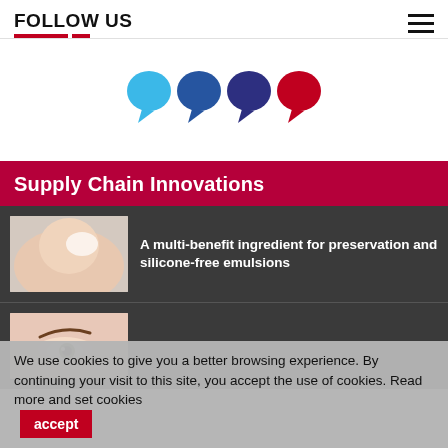FOLLOW US
[Figure (illustration): Four speech bubble icons in cyan, blue, dark blue/navy, and red/crimson arranged horizontally]
Supply Chain Innovations
[Figure (photo): Close-up of a person applying a white cream/lotion to underarm area]
A multi-benefit ingredient for preservation and silicone-free emulsions
[Figure (photo): Close-up of a person's face showing eye and brow]
We use cookies to give you a better browsing experience. By continuing your visit to this site, you accept the use of cookies. Read more and set cookies